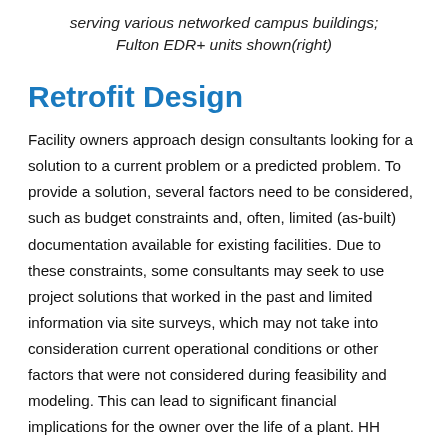serving various networked campus buildings; Fulton EDR+ units shown(right)
Retrofit Design
Facility owners approach design consultants looking for a solution to a current problem or a predicted problem. To provide a solution, several factors need to be considered, such as budget constraints and, often, limited (as-built) documentation available for existing facilities. Due to these constraints, some consultants may seek to use project solutions that worked in the past and limited information via site surveys, which may not take into consideration current operational conditions or other factors that were not considered during feasibility and modeling. This can lead to significant financial implications for the owner over the life of a plant. HH Angus recognizes that active